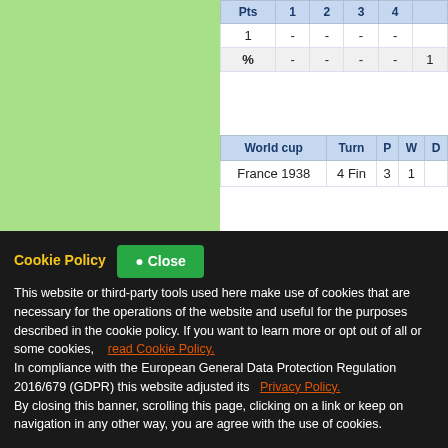[Figure (illustration): Green gradient background panel on the left side of the page]
| Pts | 1 | 2 | 3 | 4 | ... |
| --- | --- | --- | --- | --- | --- |
| 1 | - | - | - | - |
| % | - | - | - | - | 1 |
| World cup | Turn | P | W | ... |
| --- | --- | --- | --- | --- |
| France 1938 | 4 Fin | 3 | 1 | ... |
France 1938 - Results and matches
| Date | Stadium | City |
| --- | --- | --- |
| 05/06/38 | Chapou | Toulouse |
| 05/06/38 | Chapou | Toulouse |
| 12/06/38 | Fort Car... | Antibes... |
Cookie Policy
This website or third-party tools used here make use of cookies that are necessary for the operations of the website and useful for the purposes described in the cookie policy. If you want to learn more or opt out of all or some cookies,   read Cookie Policy.
In compliance with the European General Data Protection Regulation 2016/679 (GDPR) this website adjusted its   Privacy Policy.
By closing this banner, scrolling this page, clicking on a link or keep on navigation in any other way, you are agree with the use of cookies.